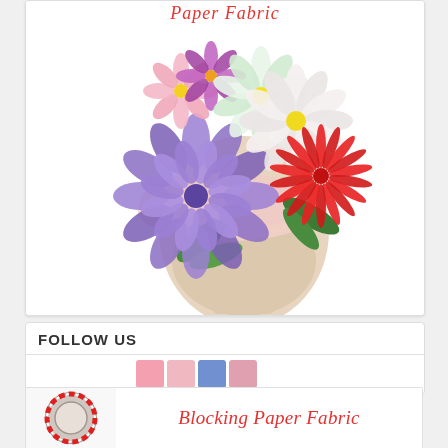[Figure (photo): A decorative fascinator hat on a mannequin head, adorned with multiple colorful flowers — purple/blue dahlia, pink daisy, white/green daisy, red spiky flower — on a pink fabric headband. Red cursive text 'Paper Fabric' at the top.]
FOLLOW US
[Figure (infographic): Social media follow icons row with colored squares (pink, blue tones)]
[Figure (photo): Banner advertisement showing a round hat block with red patterned fabric and red cursive text 'Blocking Paper Fabric' on white background]